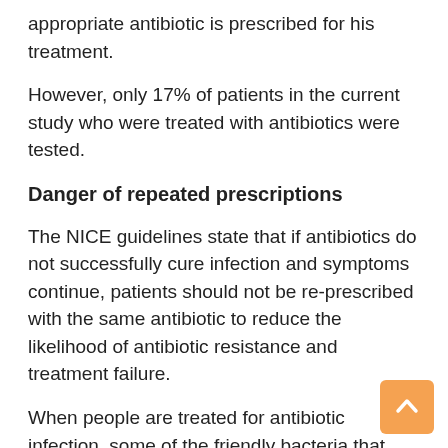appropriate antibiotic is prescribed for his treatment.
However, only 17% of patients in the current study who were treated with antibiotics were tested.
Danger of repeated prescriptions
The NICE guidelines state that if antibiotics do not successfully cure infection and symptoms continue, patients should not be re-prescribed with the same antibiotic to reduce the likelihood of antibiotic resistance and treatment failure.
When people are treated for antibiotic infection, some of the friendly bacteria that usually live in the body develop antibiotic resistance. These bacteria may transmit resistance to other bacteria that may cause infections in the future, making these new infections more difficult to treat.